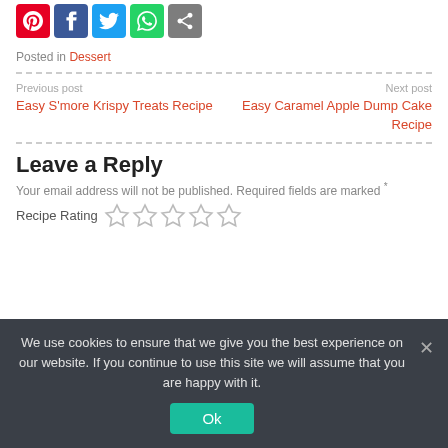[Figure (other): Social sharing icons: Pinterest (red), Facebook (blue), Twitter (light blue), WhatsApp (green), Share (gray)]
Posted in Dessert
Previous post
Easy S'more Krispy Treats Recipe
Next post
Easy Caramel Apple Dump Cake Recipe
Leave a Reply
Your email address will not be published. Required fields are marked *
Recipe Rating ☆☆☆☆☆
We use cookies to ensure that we give you the best experience on our website. If you continue to use this site we will assume that you are happy with it.